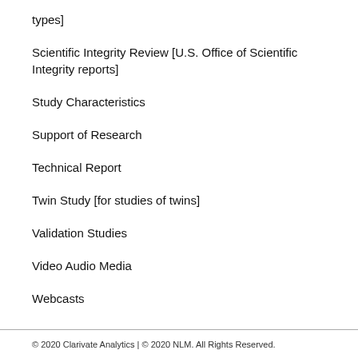types]
Scientific Integrity Review [U.S. Office of Scientific Integrity reports]
Study Characteristics
Support of Research
Technical Report
Twin Study [for studies of twins]
Validation Studies
Video Audio Media
Webcasts
© 2020 Clarivate Analytics | © 2020 NLM. All Rights Reserved.